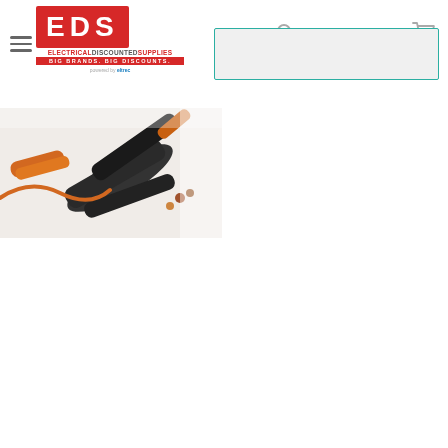[Figure (logo): EDS Electrical Discounted Supplies logo with red background, white lettering, tagline 'BIG BRANDS. BIG DISCOUNTS.' and 'powered by eltrec']
[Figure (screenshot): Navigation header with hamburger menu, search icon, Login, Register text links, and shopping cart icon]
[Figure (other): Search bar with teal/green border on light grey background]
[Figure (photo): Photo of electrical tools including pliers, screwdrivers, and components on a white surface with orange handles visible]